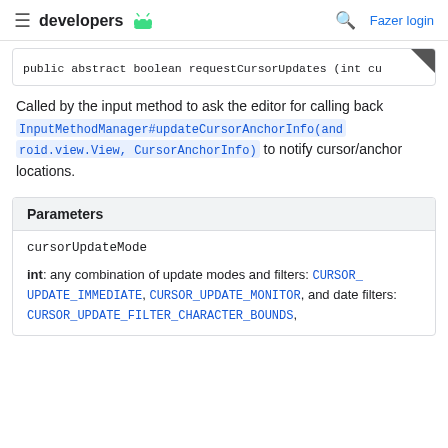developers [Android icon] | [search icon] Fazer login
public abstract boolean requestCursorUpdates (int cu
Called by the input method to ask the editor for calling back InputMethodManager#updateCursorAnchorInfo(android.view.View, CursorAnchorInfo) to notify cursor/anchor locations.
| Parameters |
| --- |
| cursorUpdateMode |
| int: any combination of update modes and filters: CURSOR_UPDATE_IMMEDIATE, CURSOR_UPDATE_MONITOR, and date filters: CURSOR_UPDATE_FILTER_CHARACTER_BOUNDS, |